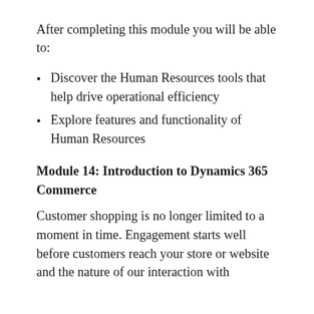After completing this module you will be able to:
After completing this module you will be able to:
Discover the Human Resources tools that help drive operational efficiency
Explore features and functionality of Human Resources
Module 14: Introduction to Dynamics 365 Commerce
Customer shopping is no longer limited to a moment in time. Engagement starts well before customers reach your store or website and the nature of our interaction with